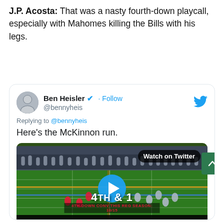J.P. Acosta: That was a nasty fourth-down playcall, especially with Mahomes killing the Bills with his legs.
[Figure (screenshot): Embedded tweet from @bennyheis (Ben Heisler) with verified badge and Follow button, replying to @bennyheis, text 'Here's the McKinnon run.' with an embedded video thumbnail showing an NFL football play (4th & 1, BUF 14 KC 14, 3rd 10:07) with a Watch on Twitter overlay badge and blue play button circle.]